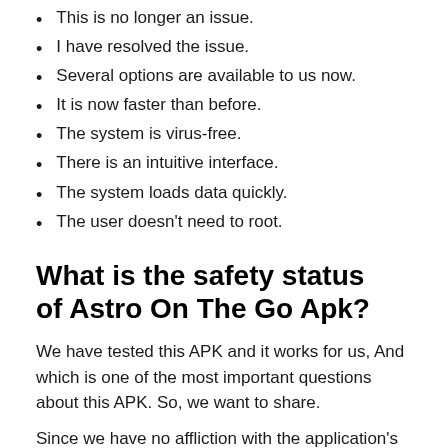This is no longer an issue.
I have resolved the issue.
Several options are available to us now.
It is now faster than before.
The system is virus-free.
There is an intuitive interface.
The system loads data quickly.
The user doesn't need to root.
What is the safety status of Astro On The Go Apk?
We have tested this APK and it works for us, And which is one of the most important questions about this APK. So, we want to share.
Since we have no affliction with the application's